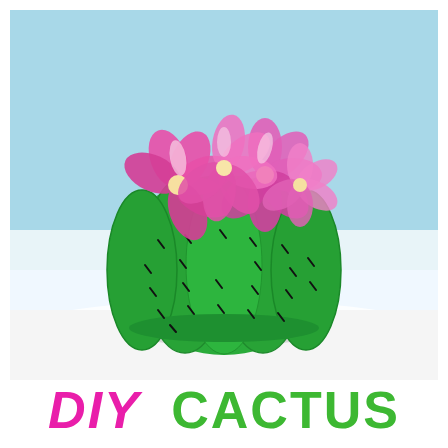[Figure (photo): A round green pumpkin painted to look like a cactus with small black dash marks for spines, topped with several bright pink and white artificial flowers, set against a light blue background on a white surface.]
DIY CACTUS